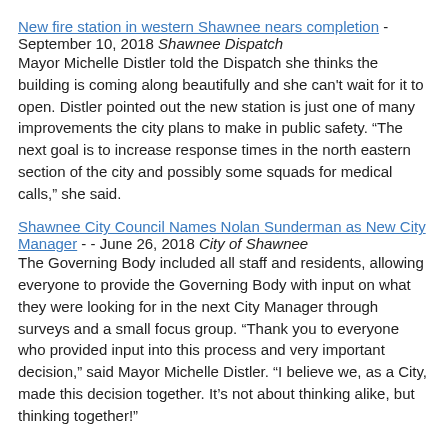New fire station in western Shawnee nears completion - September 10, 2018 Shawnee Dispatch
Mayor Michelle Distler told the Dispatch she thinks the building is coming along beautifully and she can't wait for it to open. Distler pointed out the new station is just one of many improvements the city plans to make in public safety. “The next goal is to increase response times in the north eastern section of the city and possibly some squads for medical calls,” she said.
Shawnee City Council Names Nolan Sunderman as New City Manager - - June 26, 2018 City of Shawnee
The Governing Body included all staff and residents, allowing everyone to provide the Governing Body with input on what they were looking for in the next City Manager through surveys and a small focus group. “Thank you to everyone who provided input into this process and very important decision,” said Mayor Michelle Distler. “I believe we, as a City, made this decision together. It’s not about thinking alike, but thinking together!”